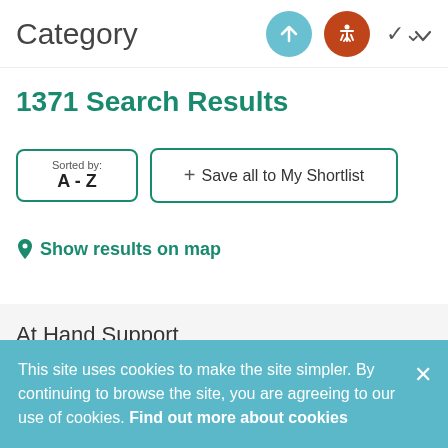Category
1371 Search Results
Sorted by: A - Z
+ Save all to My Shortlist
Show results on map
At Hand Support
This site uses cookies to make the site simpler. By continuing to browse the site, you are agreeing to our use of cookies. Find out more about cookies